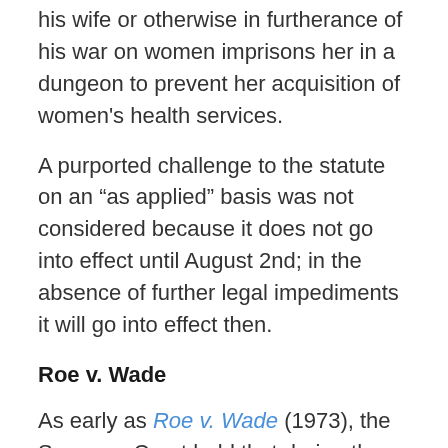his wife or otherwise in furtherance of his war on women imprisons her in a dungeon to prevent her acquisition of women's health services.
A purported challenge to the statute on an “as applied” basis was not considered because it does not go into effect until August 2nd; in the absence of further legal impediments it will go into effect then.
Roe v. Wade
As early as Roe v. Wade (1973), the Supreme Court held that during the first trimester of a pregnancy States can properly regulate access to abortions, including the facilities in which they may be performed and the personnel who may perform them, solely to ensure the health and safety of pregnant women. The Court then